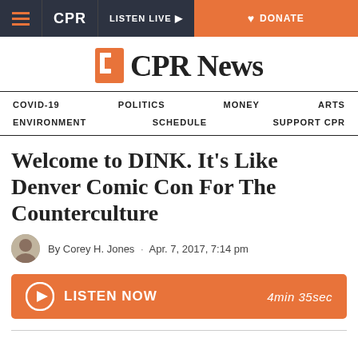CPR | LISTEN LIVE | DONATE
CPR News
COVID-19   POLITICS   MONEY   ARTS   ENVIRONMENT   SCHEDULE   SUPPORT CPR
Welcome to DINK. It's Like Denver Comic Con For The Counterculture
By Corey H. Jones · Apr. 7, 2017, 7:14 pm
LISTEN NOW   4min 35sec